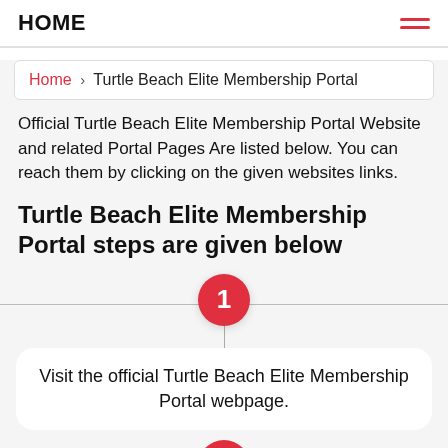HOME
Home › Turtle Beach Elite Membership Portal
Official Turtle Beach Elite Membership Portal Website and related Portal Pages Are listed below. You can reach them by clicking on the given websites links.
Turtle Beach Elite Membership Portal steps are given below
1. Visit the official Turtle Beach Elite Membership Portal webpage.
2. (partial, cut off)